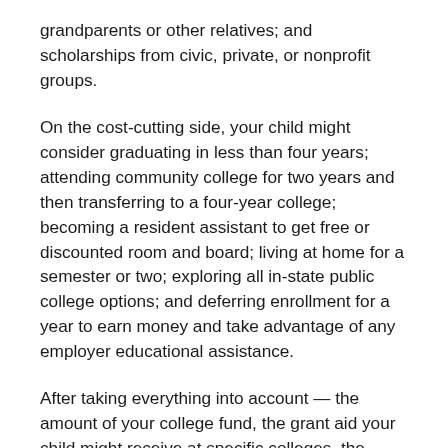grandparents or other relatives; and scholarships from civic, private, or nonprofit groups.
On the cost-cutting side, your child might consider graduating in less than four years; attending community college for two years and then transferring to a four-year college; becoming a resident assistant to get free or discounted room and board; living at home for a semester or two; exploring all in-state public college options; and deferring enrollment for a year to earn money and take advantage of any employer educational assistance.
After taking everything into account — the amount of your college fund, the grant aid your child might receive at specific colleges, the amount of money you and your child can contribute from current income during the college years, and the availability of other resources and cost-cutting measures — you can determine how much borrowing would be required for specific colleges and make an informed choice.